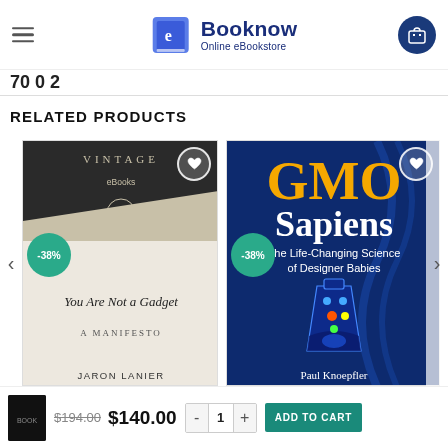Booknow Online eBookstore
RELATED PRODUCTS
[Figure (illustration): Book cover: You Are Not a Gadget - A Manifesto by Jaron Lanier, Vintage eBooks. -38% badge shown.]
[Figure (illustration): Book cover: GMO Sapiens - The Life-Changing Science of Designer Babies by Paul Knoepfler. -38% badge shown.]
$194.00 $140.00
- 1 + ADD TO CART